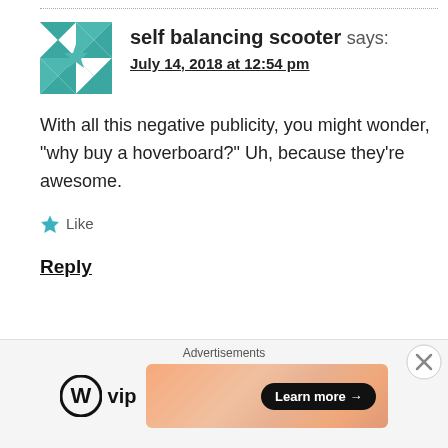self balancing scooter says: July 14, 2018 at 12:54 pm
With all this negative publicity, you might wonder, “why buy a hoverboard?” Uh, because they’re awesome.
Like
Reply
LEAVE A REPLY
Advertisements
[Figure (logo): WordPress VIP logo with circular W icon and text 'vip']
[Figure (infographic): Orange gradient advertisement banner with Learn more arrow button]